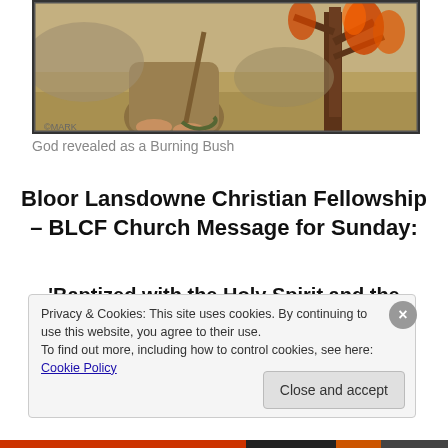[Figure (illustration): Partial illustration of a biblical scene showing Moses at the Burning Bush — feet, robes, a tree with flames, sandy ground, and rocky background. Old-style engraved/colored artwork.]
God revealed as a Burning Bush
Bloor Lansdowne Christian Fellowship – BLCF Church Message for Sunday:
'Baptized with the Holy Spirit and the Refiner's Fire'
© July 28, 2013 by Steve Mickelson
Privacy & Cookies: This site uses cookies. By continuing to use this website, you agree to their use.
To find out more, including how to control cookies, see here: Cookie Policy